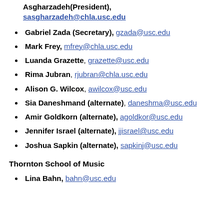Asgharzadeh(President), sasgharzadeh@chla.usc.edu
Gabriel Zada (Secretary), gzada@usc.edu
Mark Frey, mfrey@chla.usc.edu
Luanda Grazette, grazette@usc.edu
Rima Jubran, rjubran@chla.usc.edu
Alison G. Wilcox, awilcox@usc.edu
Sia Daneshmand (alternate), daneshma@usc.edu
Amir Goldkorn (alternate), agoldkor@usc.edu
Jennifer Israel (alternate), jjisrael@usc.edu
Joshua Sapkin (alternate), sapkinj@usc.edu
Thornton School of Music
Lina Bahn, bahn@usc.edu